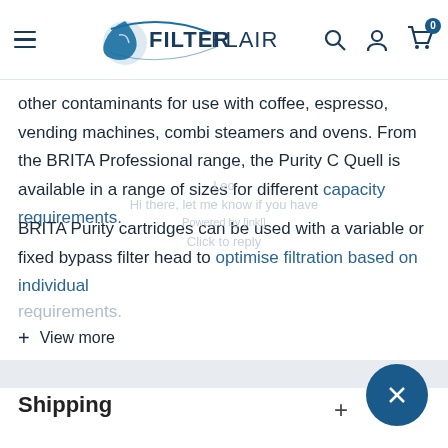[Figure (logo): Filter Flair logo with water drop icon and navigation icons (search, account, cart with badge 0)]
other contaminants for use with coffee, espresso, vending machines, combi steamers and ovens. From the BRITA Professional range, the Purity C Quell is available in a range of sizes for different capacity requirements.
BRITA Purity cartridges can be used with a variable or fixed bypass filter head to optimise filtration based on individual requirements.
+ View more
Shipping